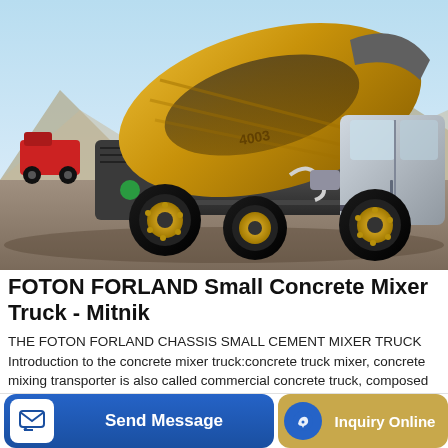[Figure (photo): A yellow FOTON FORLAND self-loading concrete mixer truck photographed outdoors in a dusty/mountainous environment. The truck has a large rotating drum mixer on top, four large wheels with yellow rims, a cab on the right side, and a red vehicle visible in the background on the left.]
FOTON FORLAND Small Concrete Mixer Truck - Mitnik
THE FOTON FORLAND CHASSIS SMALL CEMENT MIXER TRUCK Introduction to the concrete mixer truck:concrete truck mixer, concrete mixing transporter is also called commercial concrete truck, composed of automobile chassis and concrete mixing transportation dedicated device. Is used to transport ready-